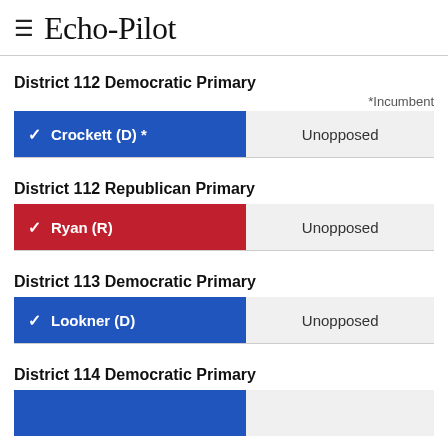Echo-Pilot
District 112 Democratic Primary
*Incumbent
| Candidate | Status |
| --- | --- |
| ✓ Crockett (D) * | Unopposed |
District 112 Republican Primary
| Candidate | Status |
| --- | --- |
| ✓ Ryan (R) | Unopposed |
District 113 Democratic Primary
| Candidate | Status |
| --- | --- |
| ✓ Lookner (D) | Unopposed |
District 114 Democratic Primary